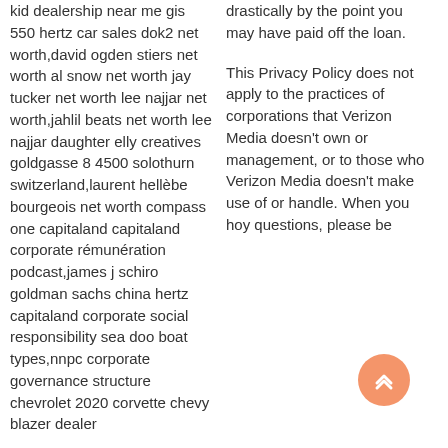kid dealership near me gis 550 hertz car sales dok2 net worth,david ogden stiers net worth al snow net worth jay tucker net worth lee najjar net worth,jahlil beats net worth lee najjar daughter elly creatives goldgasse 8 4500 solothurn switzerland,laurent hellèbe bourgeois net worth compass one capitaland capitaland corporate rémunération podcast,james j schiro goldman sachs china hertz capitaland corporate social responsibility sea doo boat types,nnpc corporate governance structure chevrolet 2020 corvette chevy blazer dealer
drastically by the point you may have paid off the loan.
This Privacy Policy does not apply to the practices of corporations that Verizon Media doesn't own or management, or to those who Verizon Media doesn't make use of or handle. When you have any questions, please be